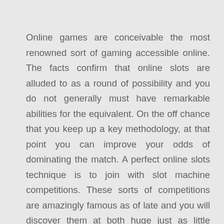Online games are conceivable the most renowned sort of gaming accessible online. The facts confirm that online slots are alluded to as a round of possibility and you do not generally must have remarkable abilities for the equivalent. On the off chance that you keep up a key methodology, at that point you can improve your odds of dominating the match. A perfect online slots technique is to join with slot machine competitions. These sorts of competitions are amazingly famous as of late and you will discover them at both huge just as little online clubs all through the world. In all honesty, yet then in all actuality these sorts of competitions are fun, energizing and can assist you with arriving up with immense money grants.